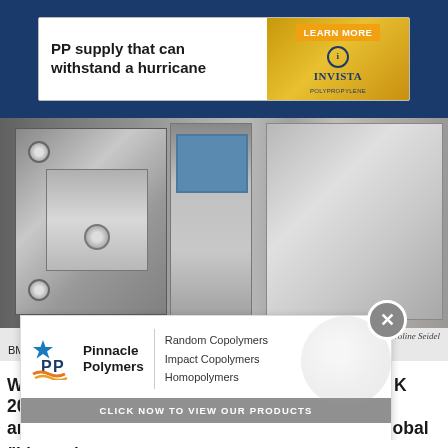[Figure (photo): Advertisement banner: PP supply that can withstand a hurricane — Invista Polypropylene. Learn More button.]
[Figure (photo): Industrial injection molding machine close-up photo at K 2019 trade show, BMB SpA booth. Metal machinery components shown.]
Plastics News photo by Caroline Seidel
BMB SpA is focusing on high end packaging production at its K 2019 booth.
While many of the larger machinery makers at K 2019 are feeling the effects of uncertainty in the global economy and a slowdown in auto and a global slowdown, smaller Italian machinery maker B...
[Figure (screenshot): Advertisement overlay: ADVERTISEMENT label. Pinnacle Polymers ad showing Random Copolymers, Impact Copolymers, Homopolymers. Click Now to View Our Products button. Close X button.]